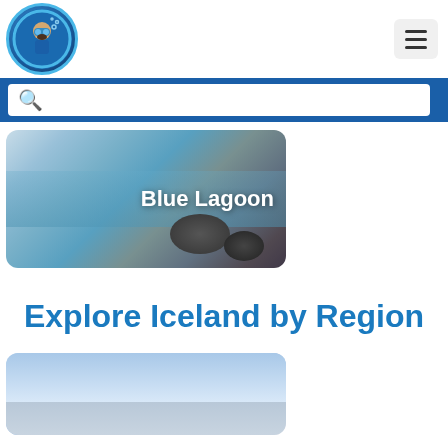Navigation header with logo and hamburger menu
[Figure (screenshot): Search bar with magnifying glass icon on dark blue background]
[Figure (photo): Blue Lagoon card image showing geothermal pool with text overlay 'Blue Lagoon']
Explore Iceland by Region
[Figure (photo): Partial image of Iceland landscape with blue sky, bottom of page]